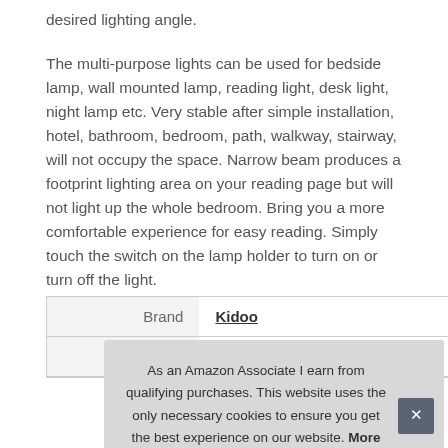desired lighting angle.
The multi-purpose lights can be used for bedside lamp, wall mounted lamp, reading light, desk light, night lamp etc. Very stable after simple installation, hotel, bathroom, bedroom, path, walkway, stairway, will not occupy the space. Narrow beam produces a footprint lighting area on your reading page but will not light up the whole bedroom. Bring you a more comfortable experience for easy reading. Simply touch the switch on the lamp holder to turn on or turn off the light.
| Brand |  |
| --- | --- |
| Brand | Kidoo |
| Ma |  |
As an Amazon Associate I earn from qualifying purchases. This website uses the only necessary cookies to ensure you get the best experience on our website. More information